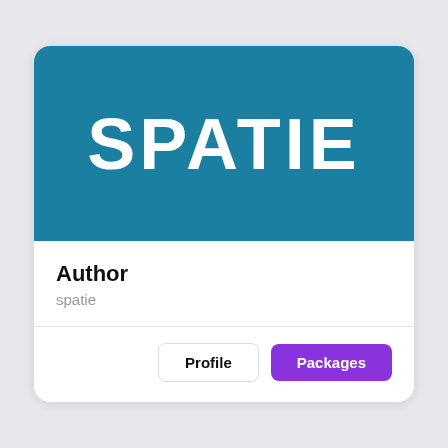[Figure (logo): SPATIE logo — white bold uppercase text on a teal/dark cyan background]
Author
spatie
Profile
Packages